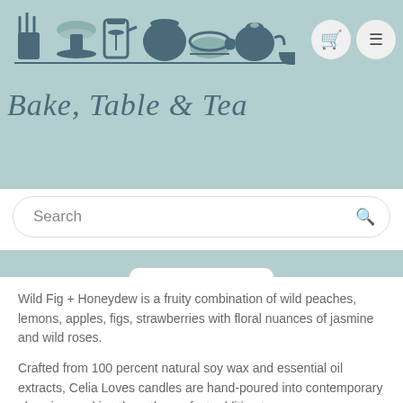[Figure (logo): Bake, Table & Tea logo with kitchen utensil icons and script text]
Search
Wild Fig + Honeydew is a fruity combination of wild peaches, lemons, apples, figs, strawberries with floral nuances of jasmine and wild roses.
Crafted from 100 percent natural soy wax and essential oil extracts, Celia Loves candles are hand-poured into contemporary glass jars making them the perfect addition to any room.
Celia Loves candles use only 100 percent cotton lead-free wicks and burn for up to 40 hours. With their creative packaging and distinctive fragrances,